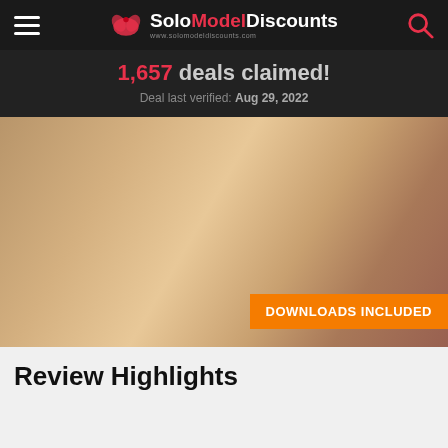SoloModelDiscounts www.solomodeldiscounts.com
1,657 deals claimed!
Deal last verified: Aug 29, 2022
[Figure (photo): Promotional website screenshot with DOWNLOADS INCLUDED badge overlay]
Review Highlights